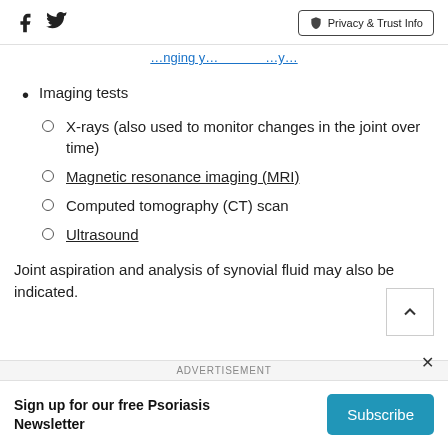Social icons (Facebook, Twitter) | Privacy & Trust Info
…nging y… …y…
Imaging tests
X-rays (also used to monitor changes in the joint over time)
Magnetic resonance imaging (MRI)
Computed tomography (CT) scan
Ultrasound
Joint aspiration and analysis of synovial fluid may also be indicated.
ADVERTISEMENT
Sign up for our free Psoriasis Newsletter